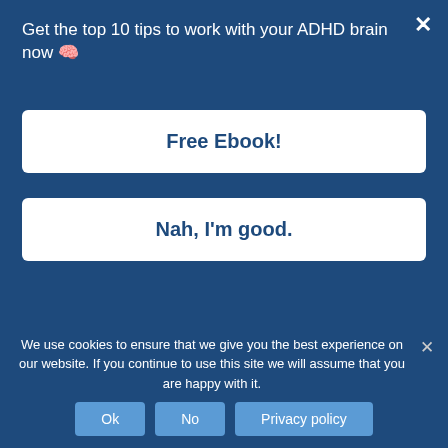Get the top 10 tips to work with your ADHD brain now 🧠
Free Ebook!
Nah, I'm good.
...the next step. The first step to running it through Byron Katie's Four Questions.
Now for those of you who might be unfamiliar with Byron Katie, she is an author and speaker and a leader in the practice of teaching others to question their
We use cookies to ensure that we give you the best experience on our website. If you continue to use this site we will assume that you are happy with it.